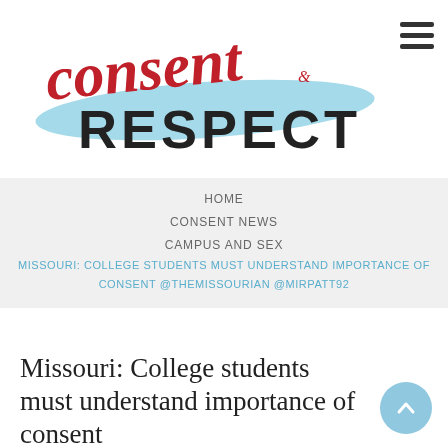[Figure (logo): Consent & Respect logo with cursive red 'consent' text and blue brushstroke, bold black 'RESPECT' text below]
HOME
CONSENT NEWS
CAMPUS AND SEX
MISSOURI: COLLEGE STUDENTS MUST UNDERSTAND IMPORTANCE OF CONSENT @THEMISSOURIAN @MIRPATT92
Missouri: College students must understand importance of consent